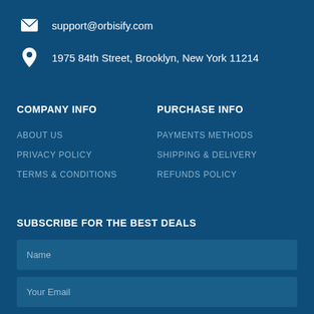support@orbisify.com
1975 84th Street, Brooklyn, New York 11214
COMPANY INFO
PURCHASE INFO
ABOUT US
PAYMENTS METHODS
PRIVACY POLICY
SHIPPING & DELIVERY
TERMS & CONDITIONS
REFUNDS POLICY
SUBSCRIBE FOR THE BEST DEALS
Name
Your Email
SUBSCRIBE